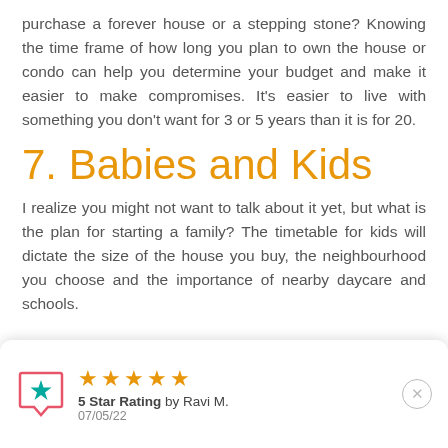purchase a forever house or a stepping stone? Knowing the time frame of how long you plan to own the house or condo can help you determine your budget and make it easier to make compromises. It's easier to live with something you don't want for 3 or 5 years than it is for 20.
7. Babies and Kids
I realize you might not want to talk about it yet, but what is the plan for starting a family? The timetable for kids will dictate the size of the house you buy, the neighbourhood you choose and the importance of nearby daycare and schools.
[Figure (other): Review widget showing 5 star rating by Ravi M. dated 07/05/22, with a teal speech bubble icon with a star, five orange stars, bold text '5 Star Rating by Ravi M.' and date '07/05/22', and a close button.]